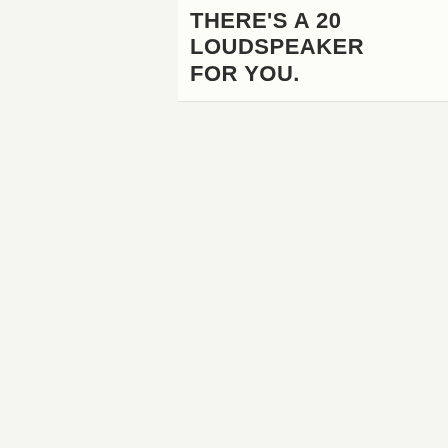THERE'S A 20 LOUDSPEAKER FOR YOU.